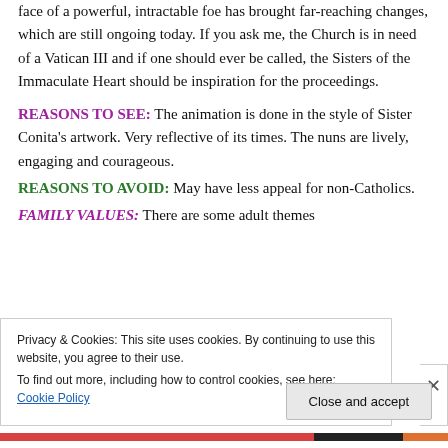face of a powerful, intractable foe has brought far-reaching changes, which are still ongoing today. If you ask me, the Church is in need of a Vatican III and if one should ever be called, the Sisters of the Immaculate Heart should be inspiration for the proceedings.
REASONS TO SEE: The animation is done in the style of Sister Conita's artwork. Very reflective of its times. The nuns are lively, engaging and courageous.
REASONS TO AVOID: May have less appeal for non-Catholics.
FAMILY VALUES: There are some adult themes
Privacy & Cookies: This site uses cookies. By continuing to use this website, you agree to their use.
To find out more, including how to control cookies, see here: Cookie Policy